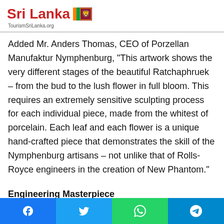Sri Lanka TourismSriLanka.org
Added Mr. Anders Thomas, CEO of Porzellan Manufaktur Nymphenburg, “This artwork shows the very different stages of the beautiful Ratchaphruek – from the bud to the lush flower in full bloom. This requires an extremely sensitive sculpting process for each individual piece, made from the whitest of porcelain. Each leaf and each flower is a unique hand-crafted piece that demonstrates the skill of the Nymphenburg artisans – not unlike that of Rolls-Royce engineers in the creation of New Phantom.”
Engineering Masterpiece
In its eighth generation, New Phantom offers a thoroughly contemporary design interpretation of Rolls-Royce DNA – one
Facebook Twitter WhatsApp Telegram